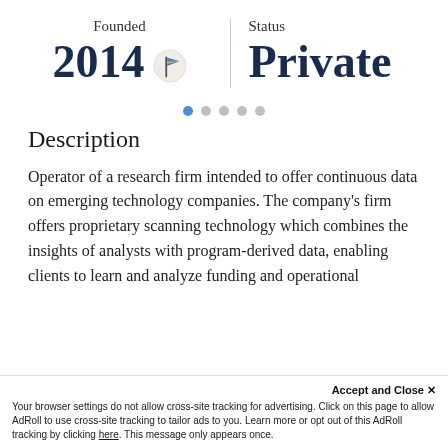Founded
2014
Status
Private
[Figure (illustration): Blue and yellow flag icon]
[Figure (infographic): Pagination dots: one active blue dot followed by four grey dots]
Description
Operator of a research firm intended to offer continuous data on emerging technology companies. The company’s firm offers proprietary scanning technology which combines the insights of analysts with program-derived data, enabling clients to learn and analyze funding and operational
Accept and Close ×
Your browser settings do not allow cross-site tracking for advertising. Click on this page to allow AdRoll to use cross-site tracking to tailor ads to you. Learn more or opt out of this AdRoll tracking by clicking here. This message only appears once.